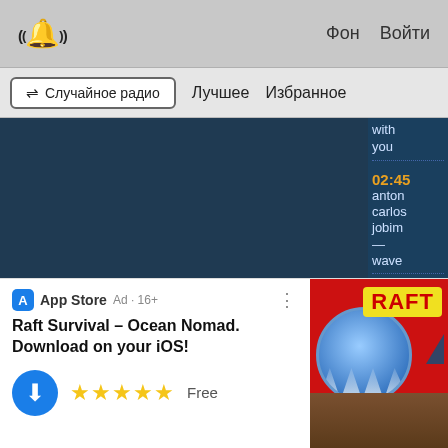((🔔)) Фон Войти
≈ Случайное радио   Лучшее   Избранное
[Figure (screenshot): Dark blue radio app interface panel with a playlist sidebar showing timestamps 02:45 and 02:41 with artist names: anton carlos jobim — wave; christ aguile — all. A close (X) button is visible on the right.]
[Figure (infographic): App Store advertisement banner for 'Raft Survival – Ocean Nomad. Download on your iOS!' with 5-star rating, Free label, download button, and game artwork showing a shark and the word RAFT.]